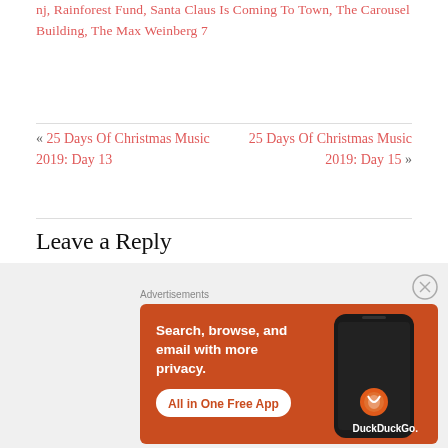nj, Rainforest Fund, Santa Claus Is Coming To Town, The Carousel Building, The Max Weinberg 7
« 25 Days Of Christmas Music 2019: Day 13   25 Days Of Christmas Music 2019: Day 15 »
Leave a Reply
Your email address will not be published. Required fields are marked *
[Figure (screenshot): DuckDuckGo advertisement banner: orange background with text 'Search, browse, and email with more privacy. All in One Free App' and DuckDuckGo logo with phone image]